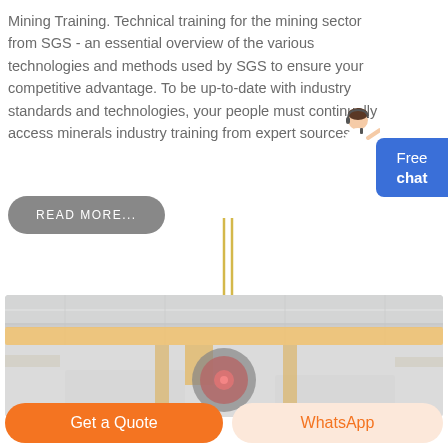Mining Training. Technical training for the mining sector from SGS - an essential overview of the various technologies and methods used by SGS to ensure your competitive advantage. To be up-to-date with industry standards and technologies, your people must continually access minerals industry training from expert sources.
[Figure (illustration): Customer service avatar (person with headset) and blue 'Free chat' button widget on the right side]
[Figure (other): Gray rounded 'READ MORE...' button]
[Figure (other): Two vertical yellow/gold parallel lines as a decorative divider]
[Figure (photo): Industrial mining/factory interior photograph showing overhead crane with large yellow beam and industrial machinery with red circular component, slightly faded/light color treatment]
Get a Quote
WhatsApp